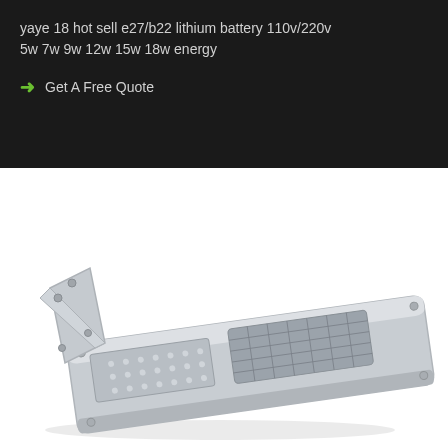yaye 18 hot sell e27/b22 lithium battery 110v/220v 5w 7w 9w 12w 15w 18w energy
→ Get A Free Quote
[Figure (photo): Product photo of a flat rectangular solar street light panel with integrated mounting bracket, silver/grey color, viewed from a slight angle showing the top and side.]